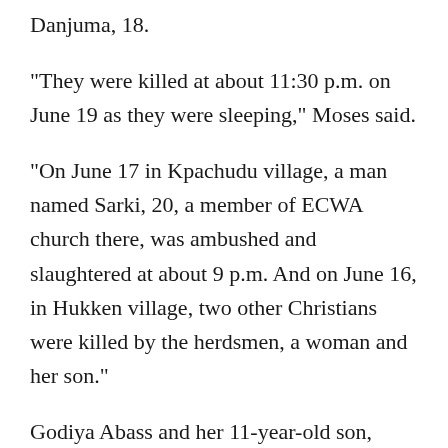Danjuma, 18.
“They were killed at about 11:30 p.m. on June 19 as they were sleeping,” Moses said.
“On June 17 in Kpachudu village, a man named Sarki, 20, a member of ECWA church there, was ambushed and slaughtered at about 9 p.m. And on June 16, in Hukken village, two other Christians were killed by the herdsmen, a woman and her son.”
Godiya Abass and her 11-year-old son, Friday Emmanuel, were killed as they worked on their farm at about 10 p.m., Moses said.